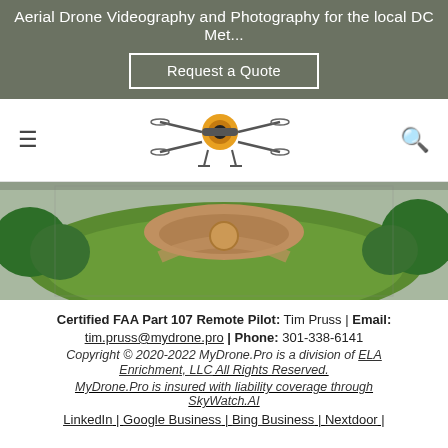Aerial Drone Videography and Photography for the local DC Met...
Request a Quote
[Figure (logo): MyDrone.Pro drone logo with camera lens and drone arms]
[Figure (photo): Aerial photograph of a backyard with green lawn, garden, and trees viewed from above]
Certified FAA Part 107 Remote Pilot: Tim Pruss | Email: tim.pruss@mydrone.pro | Phone: 301-338-6141
Copyright © 2020-2022 MyDrone.Pro is a division of ELA Enrichment, LLC All Rights Reserved.
MyDrone.Pro is insured with liability coverage through SkyWatch.AI
LinkedIn | Google Business | Bing Business | Nextdoor |